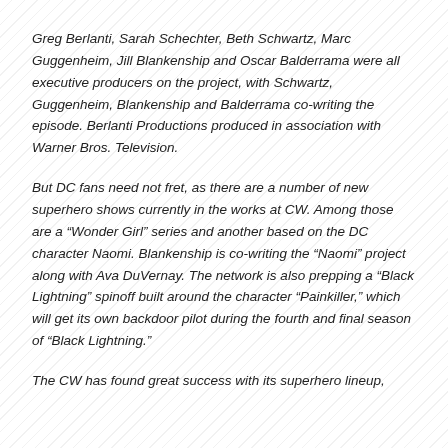Greg Berlanti, Sarah Schechter, Beth Schwartz, Marc Guggenheim, Jill Blankenship and Oscar Balderrama were all executive producers on the project, with Schwartz, Guggenheim, Blankenship and Balderrama co-writing the episode. Berlanti Productions produced in association with Warner Bros. Television.
But DC fans need not fret, as there are a number of new superhero shows currently in the works at CW. Among those are a “Wonder Girl” series and another based on the DC character Naomi. Blankenship is co-writing the “Naomi” project along with Ava DuVernay. The network is also prepping a “Black Lightning” spinoff built around the character “Painkiller,” which will get its own backdoor pilot during the fourth and final season of “Black Lightning.”
The CW has found great success with its superhero lineup,